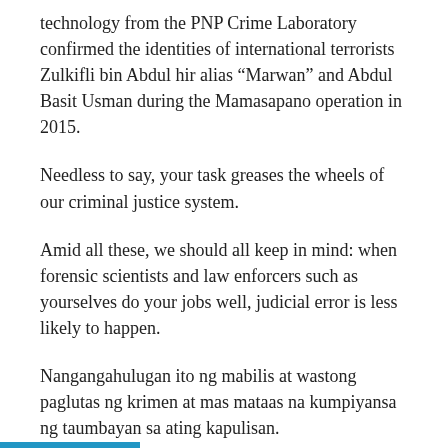technology from the PNP Crime Laboratory confirmed the identities of international terrorists Zulkifli bin Abdul hir alias “Marwan” and Abdul Basit Usman during the Mamasapano operation in 2015.
Needless to say, your task greases the wheels of our criminal justice system.
Amid all these, we should all keep in mind: when forensic scientists and law enforcers such as yourselves do your jobs well, judicial error is less likely to happen.
Nangangahulugan ito ng mabilis at wastong paglutas ng krimen at mas mataas na kumpiyansa ng taumbayan sa ating kapulisan.